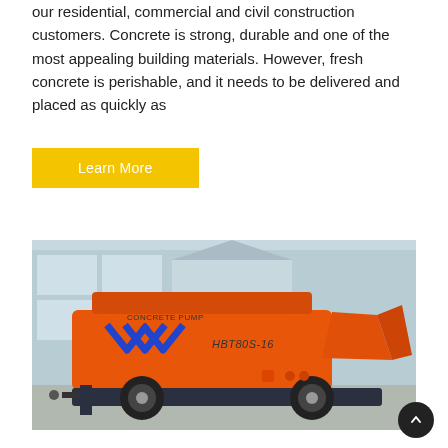our residential, commercial and civil construction customers. Concrete is strong, durable and one of the most appealing building materials. However, fresh concrete is perishable, and it needs to be delivered and placed as quickly as
Learn More
[Figure (photo): An orange concrete pump machine labeled 'CONCRETE PUMP HBT80S-16' with blue chevron stripes on the side, large rubber tires, and a hopper at the rear, parked on a concrete surface in front of a light blue building.]